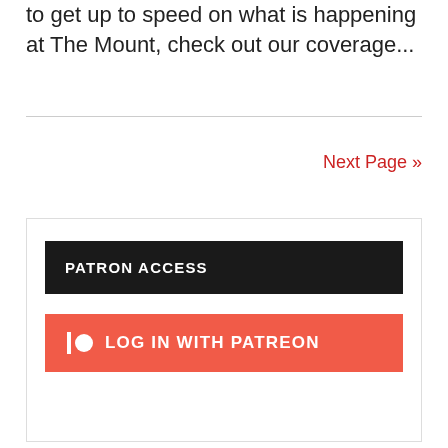St. Mary's University in Emmitsburg, MD. (If you need to get up to speed on what is happening at The Mount, check out our coverage...
Next Page »
PATRON ACCESS
LOG IN WITH PATREON